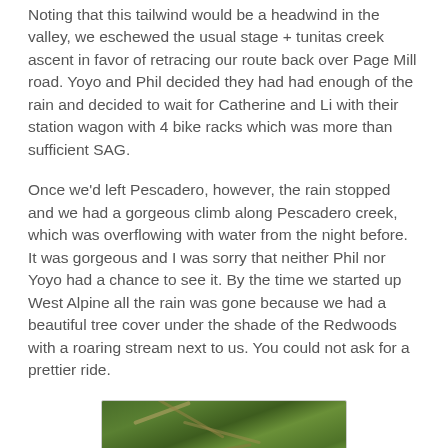Noting that this tailwind would be a headwind in the valley, we eschewed the usual stage + tunitas creek ascent in favor of retracing our route back over Page Mill road. Yoyo and Phil decided they had had enough of the rain and decided to wait for Catherine and Li with their station wagon with 4 bike racks which was more than sufficient SAG.
Once we'd left Pescadero, however, the rain stopped and we had a gorgeous climb along Pescadero creek, which was overflowing with water from the night before. It was gorgeous and I was sorry that neither Phil nor Yoyo had a chance to see it. By the time we started up West Alpine all the rain was gone because we had a beautiful tree cover under the shade of the Redwoods with a roaring stream next to us. You could not ask for a prettier ride.
[Figure (photo): A photograph of green moss-covered tree branches and foliage, likely taken in a redwood forest.]